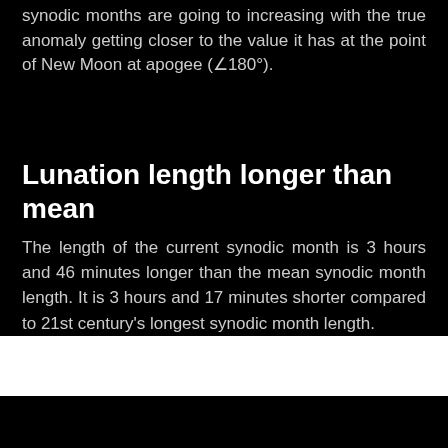synodic months are going to increasing with the true anomaly getting closer to the value it has at the point of New Moon at apogee (∠180°).
Lunation length longer than mean
The length of the current synodic month is 3 hours and 46 minutes longer than the mean synodic month length. It is 3 hours and 17 minutes shorter compared to 21st century's longest synodic month length.